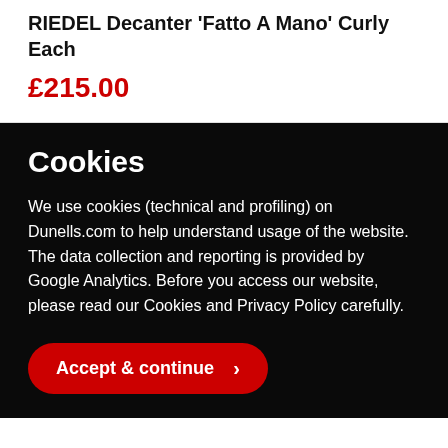RIEDEL Decanter 'Fatto A Mano' Curly Each
£215.00
Cookies
We use cookies (technical and profiling) on Dunells.com to help understand usage of the website. The data collection and reporting is provided by Google Analytics. Before you access our website, please read our Cookies and Privacy Policy carefully.
Accept & continue >